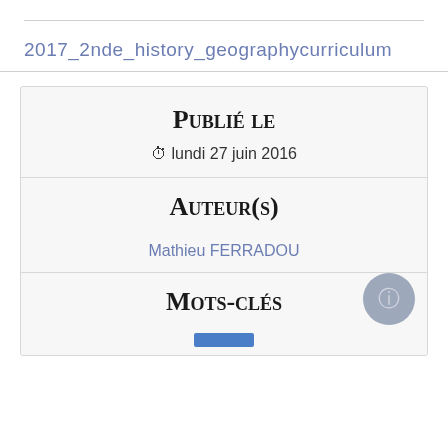2017_2nde_history_geographycurriculum
Publié le
⏱ lundi 27 juin 2016
Auteur(s)
Mathieu FERRADOU
Mots-clés